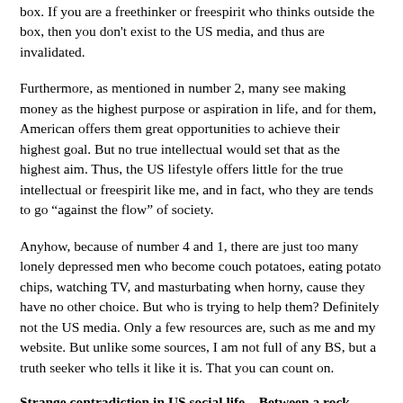box. If you are a freethinker or freespirit who thinks outside the box, then you don't exist to the US media, and thus are invalidated.
Furthermore, as mentioned in number 2, many see making money as the highest purpose or aspiration in life, and for them, American offers them great opportunities to achieve their highest goal. But no true intellectual would set that as the highest aim. Thus, the US lifestyle offers little for the true intellectual or freespirit like me, and in fact, who they are tends to go "against the flow" of society.
Anyhow, because of number 4 and 1, there are just too many lonely depressed men who become couch potatoes, eating potato chips, watching TV, and masturbating when horny, cause they have no other choice. But who is trying to help them? Definitely not the US media. Only a few resources are, such as me and my website. But unlike some sources, I am not full of any BS, but a truth seeker who tells it like it is. That you can count on.
Strange contradiction in US social life – Between a rock...